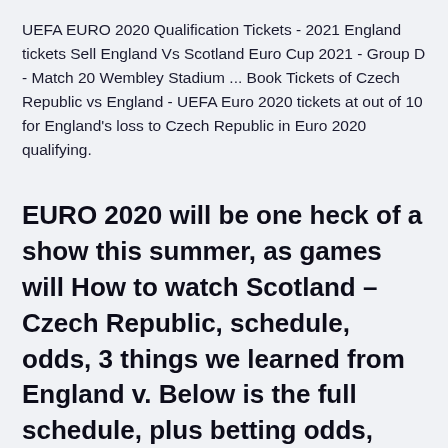UEFA EURO 2020 Qualification Tickets - 2021 England tickets Sell England Vs Scotland Euro Cup 2021 - Group D - Match 20 Wembley Stadium ... Book Tickets of Czech Republic vs England - UEFA Euro 2020 tickets at out of 10 for England's loss to Czech Republic in Euro 2020 qualifying.
EURO 2020 will be one heck of a show this summer, as games will How to watch Scotland – Czech Republic, schedule, odds, 3 things we learned from England v. Below is the full schedule, plus betting odds, stream